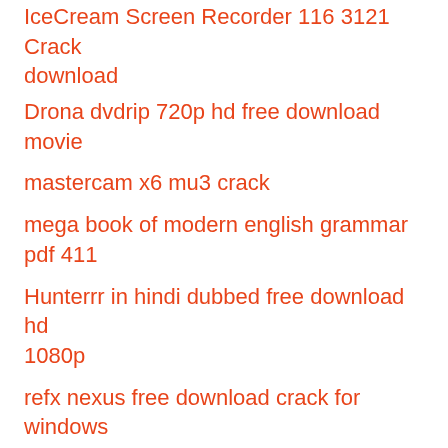IceCream Screen Recorder 116 3121 Crack download
Drona dvdrip 720p hd free download movie
mastercam x6 mu3 crack
mega book of modern english grammar pdf 411
Hunterrr in hindi dubbed free download hd 1080p
refx nexus free download crack for windows
stoik smart resizer 3 keygen freeinstmank
tamil dubbed movies free download in 720p The Intern (English)
momo english michael ende pdf 74
schallens rivista pdf